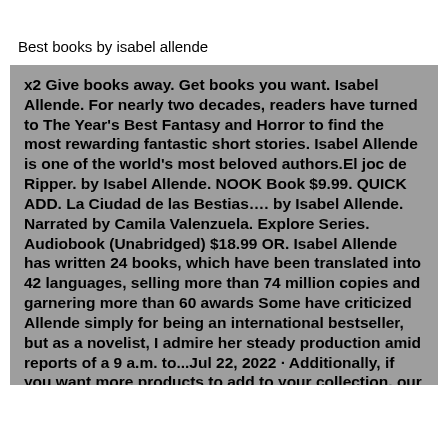Best books by isabel allende
x2 Give books away. Get books you want. Isabel Allende. For nearly two decades, readers have turned to The Year's Best Fantasy and Horror to find the most rewarding fantastic short stories. Isabel Allende is one of the world's most beloved authors.El joc de Ripper. by Isabel Allende. NOOK Book $9.99. QUICK ADD. La Ciudad de las Bestias…. by Isabel Allende. Narrated by Camila Valenzuela. Explore Series. Audiobook (Unabridged) $18.99 OR. Isabel Allende has written 24 books, which have been translated into 42 languages, selling more than 74 million copies and garnering more than 60 awards Some have criticized Allende simply for being an international bestseller, but as a novelist, I admire her steady production amid reports of a 9 a.m. to...Jul 22, 2022 · Additionally, if you want more products to add to your collection, our list of the best book by isabel